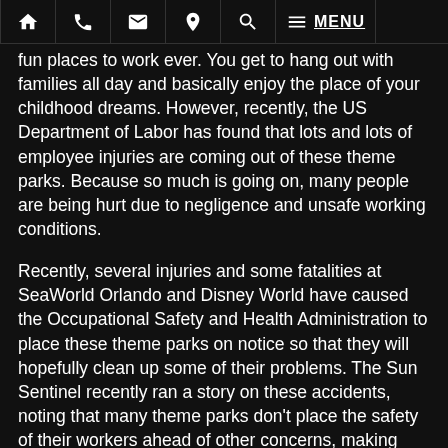[Navigation bar with home, phone, email, location, search, menu icons and MENU label]
fun places to work ever. You get to hang out with families all day and basically enjoy the place of your childhood dreams. However, recently, the US Department of Labor has found that lots and lots of employee injuries are coming out of these theme parks. Because so much is going on, many people are being hurt due to negligence and unsafe working conditions.
Recently, several injuries and some fatalities at SeaWorld Orlando and Disney World have caused the Occupational Safety and Health Administration to place these theme parks on notice so that they will hopefully clean up some of their problems. The Sun Sentinel recently ran a story on these accidents, noting that many theme parks don't place the safety of their workers ahead of other concerns, making risky working conditions even riskier.